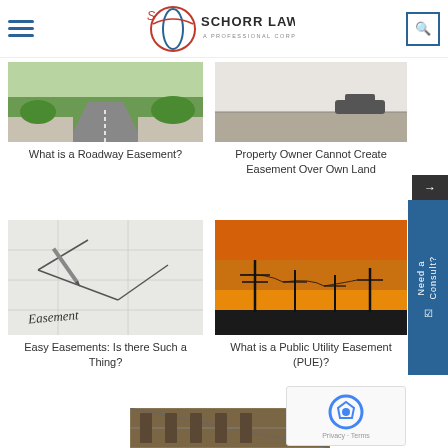Schorr Law – A Professional Corporation
[Figure (photo): Roadway/driveway with greenery – easement illustration]
What is a Roadway Easement?
[Figure (photo): Desert road scene – property easement illustration]
Property Owner Cannot Create Easement Over Own Land
[Figure (photo): Architectural blueprint drawing with the word 'Easement' handwritten]
Easy Easements: Is there Such a Thing?
[Figure (photo): Utility poles silhouetted against orange sunset sky]
What is a Public Utility Easement (PUE)?
[Figure (photo): Partial image at bottom of page – partially visible]